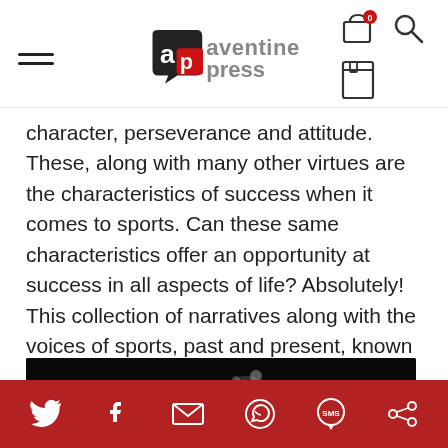aventine press
character, perseverance and attitude. These, along with many other virtues are the characteristics of success when it comes to sports. Can these same characteristics offer an opportunity at success in all aspects of life? Absolutely! This collection of narratives along with the voices of sports, past and present, known [...]
[Figure (photo): Dark/black and white photo of sports players]
Social share icons: Twitter, Facebook, Email, WhatsApp, SMS, Other